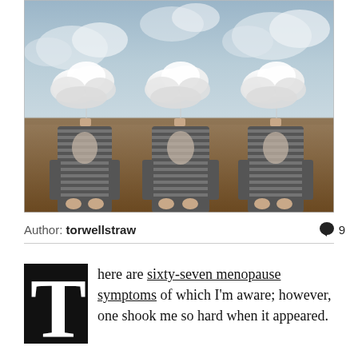[Figure (illustration): Surreal photo illustration showing three women in striped dresses standing in a field, each with a cloud replacing their head, against a cloudy sky background.]
Author: torwellstraw   💬 9
There are sixty-seven menopause symptoms of which I'm aware; however, one shook me so hard when it appeared.